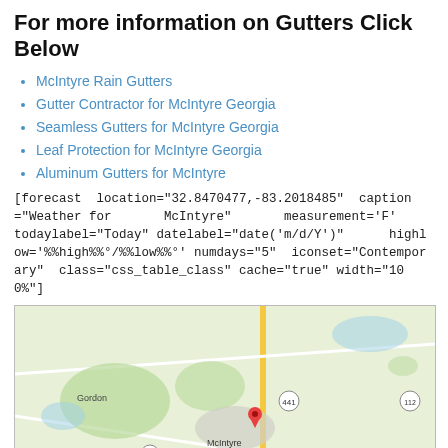For more information on Gutters Click Below
McIntyre Rain Gutters
Gutter Contractor for McIntyre Georgia
Seamless Gutters for McIntyre Georgia
Leaf Protection for McIntyre Georgia
Aluminum Gutters for McIntyre
[forecast location="32.8470477,-83.2018485" caption="Weather for McIntyre" measurement='F' todaylabel="Today" datelabel="date('m/d/Y')" highlow='%%high%%°/%%low%%°' numdays="5" iconset="Contemporary" class="css_table_class" cache="true" width="100%"]
[Figure (map): Google map showing McIntyre, Georgia area with route 441, 57, 112, 18 roads, towns Gordon, Irwinton, Toomsboro, and a red location pin on McIntyre]